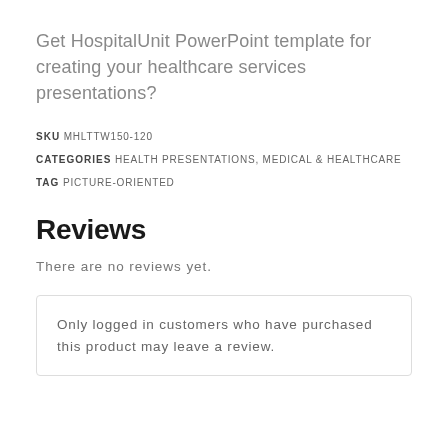Get HospitalUnit PowerPoint template for creating your healthcare services presentations?
SKU MHLTTW150-120
CATEGORIES HEALTH PRESENTATIONS, MEDICAL & HEALTHCARE
TAG PICTURE-ORIENTED
Reviews
There are no reviews yet.
Only logged in customers who have purchased this product may leave a review.